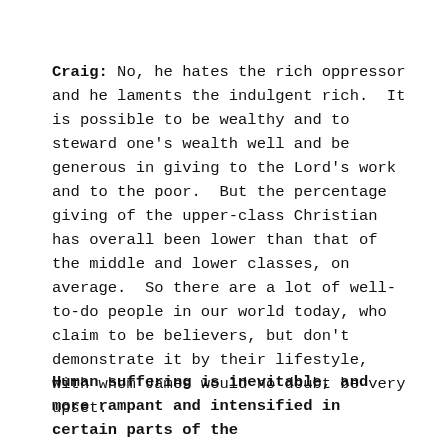Craig: No, he hates the rich oppressor and he laments the indulgent rich.  It is possible to be wealthy and to steward one's wealth well and be generous in giving to the Lord's work and to the poor.  But the percentage giving of the upper-class Christian has overall been lower than that of the middle and lower classes, on average.  So there are a lot of well-to-do people in our world today, who claim to be believers, but don't demonstrate it by their lifestyle, with whom James would no doubt be very upset.
Human suffering is inevitable, and more rampant and intensified in certain parts of the